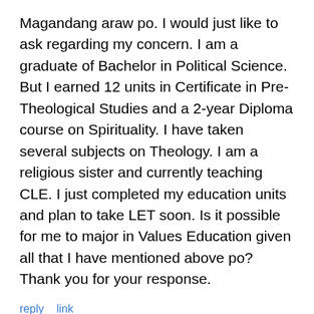Magandang araw po. I would just like to ask regarding my concern. I am a graduate of Bachelor in Political Science. But I earned 12 units in Certificate in Pre-Theological Studies and a 2-year Diploma course on Spirituality. I have taken several subjects on Theology. I am a religious sister and currently teaching CLE. I just completed my education units and plan to take LET soon. Is it possible for me to major in Values Education given all that I have mentioned above po? Thank you for your response.
reply   link
Bam
Mar 21, 2022 @ 0:46